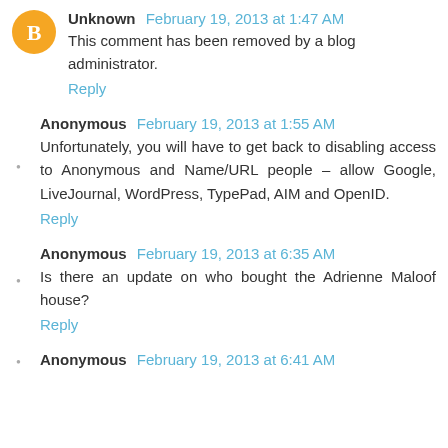Unknown  February 19, 2013 at 1:47 AM
This comment has been removed by a blog administrator.
Reply
Anonymous  February 19, 2013 at 1:55 AM
Unfortunately, you will have to get back to disabling access to Anonymous and Name/URL people – allow Google, LiveJournal, WordPress, TypePad, AIM and OpenID.
Reply
Anonymous  February 19, 2013 at 6:35 AM
Is there an update on who bought the Adrienne Maloof house?
Reply
Anonymous  February 19, 2013 at 6:41 AM